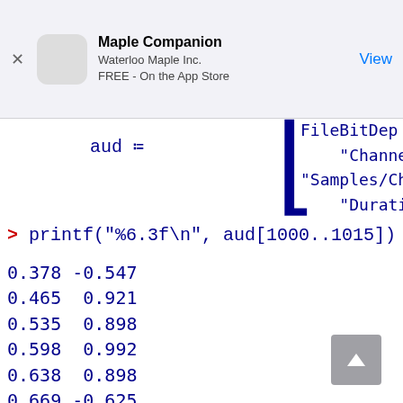Maple Companion
Waterloo Maple Inc.
FREE - On the App Store
> printf("%6.3f\n", aud[1000..1015])
0.378 -0.547
0.465  0.921
0.535  0.898
0.598  0.992
0.638  0.898
0.669 -0.625
0.685 -0.734
0.685 -0.945
0.669  0.669
0.646 -0.281